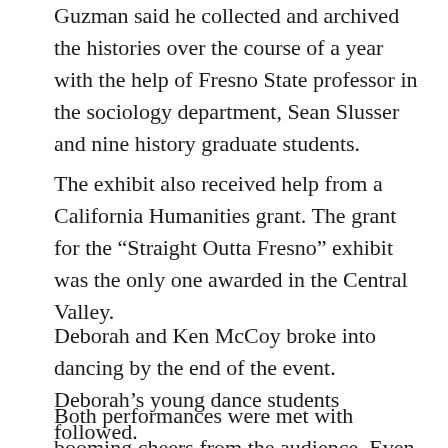Guzman said he collected and archived the histories over the course of a year with the help of Fresno State professor in the sociology department, Sean Slusser and nine history graduate students.
The exhibit also received help from a California Humanities grant. The grant for the “Straight Outta Fresno” exhibit was the only one awarded in the Central Valley.
Deborah and Ken McCoy broke into dancing by the end of the event. Deborah’s young dance students followed.
Both performances were met with booming cheers from the audience. Even the dancers could not help